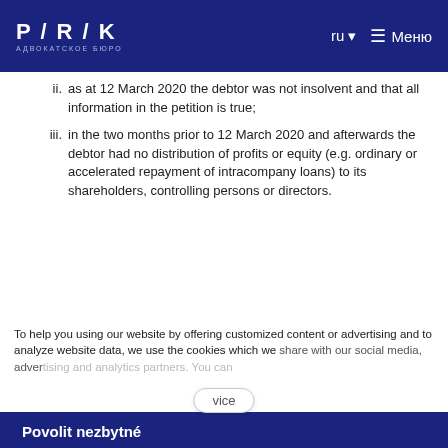P / R / K  АДВОКАТСКОЕ БЮРО  ru  Меню
ii. as at 12 March 2020 the debtor was not insolvent and that all information in the petition is true;
iii. in the two months prior to 12 March 2020 and afterwards the debtor had no distribution of profits or equity (e.g. ordinary or accelerated repayment of intracompany loans) to its shareholders, controlling persons or directors.
To help you using our website by offering customized content or advertising and to analyze website data, we use the cookies which we share with our social media, advertising and analytics partners. You can edit the settings within the link Cookies Settings and whenever you
vice
Povolit nezbytné
Nastavení
Povolit vše